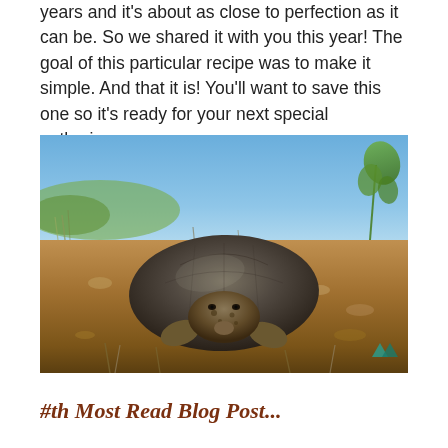years and it's about as close to perfection as it can be. So we shared it with you this year! The goal of this particular recipe was to make it simple. And that it is! You'll want to save this one so it's ready for your next special gathering.
[Figure (photo): Close-up photograph of a desert tortoise on sandy ground with dry scrub vegetation, blue sky in background, green desert plants on the right side]
#th Most Read Blog Post...